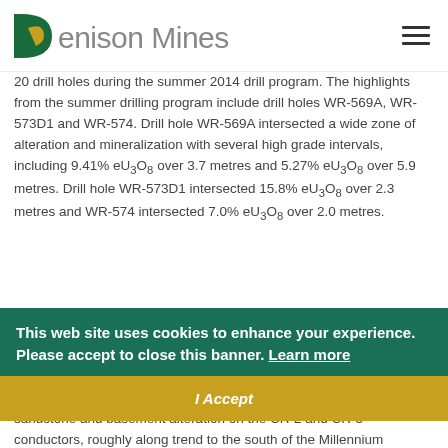Denison Mines
20 drill holes during the summer 2014 drill program. The highlights from the summer drilling program include drill holes WR-569A, WR-573D1 and WR-574. Drill hole WR-569A intersected a wide zone of alteration and mineralization with several high grade intervals, including 9.41% eU3O8 over 3.7 metres and 5.27% eU3O8 over 5.9 metres. Drill hole WR-573D1 intersected 15.8% eU3O8 over 2.3 metres and WR-574 intersected 7.0% eU3O8 over 2.0 metres.
This web site uses cookies to enhance your experience. Please accept to close this banner. Learn more
I Accept
A total of 1,189 metres of drilling was also completed in seven holes at Crawford Lake and Bachman Lake during the summer program. The drill program intersected, the ... of sandstone and basement alteration on the CR-2 and CR-5 conductors, roughly along trend to the south of the Millennium deposit. Follow-